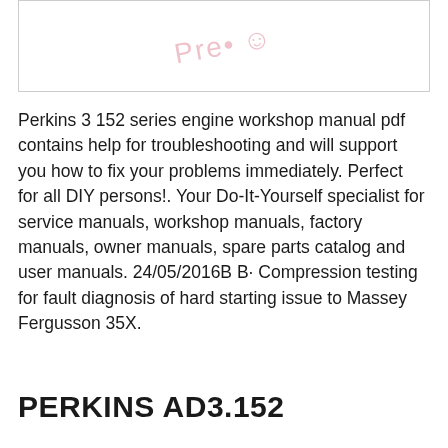[Figure (illustration): A faded watermark-style preview image with pink/red text overlay reading 'Preview' and a small icon, bordered by a thin gray rectangle.]
Perkins 3 152 series engine workshop manual pdf contains help for troubleshooting and will support you how to fix your problems immediately. Perfect for all DIY persons!. Your Do-It-Yourself specialist for service manuals, workshop manuals, factory manuals, owner manuals, spare parts catalog and user manuals. 24/05/2016B B· Compression testing for fault diagnosis of hard starting issue to Massey Fergusson 35X.
PERKINS AD3.152